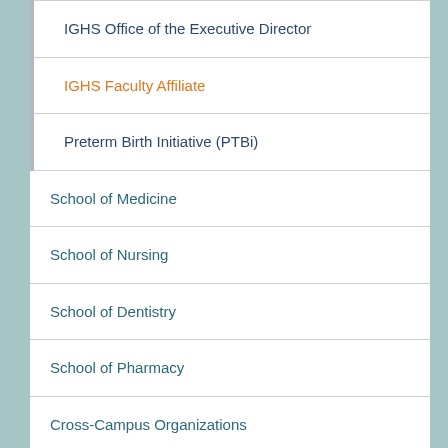IGHS Office of the Executive Director
IGHS Faculty Affiliate
Preterm Birth Initiative (PTBi)
School of Medicine
School of Nursing
School of Dentistry
School of Pharmacy
Cross-Campus Organizations
Graduate Division